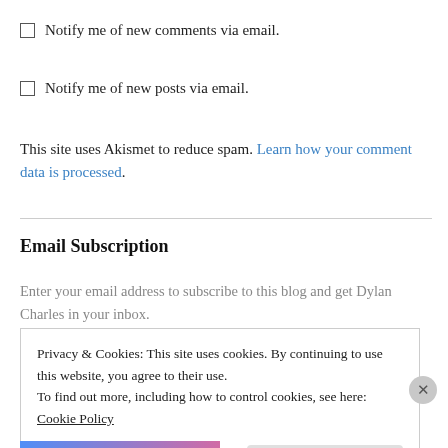Notify me of new comments via email.
Notify me of new posts via email.
This site uses Akismet to reduce spam. Learn how your comment data is processed.
Email Subscription
Enter your email address to subscribe to this blog and get Dylan Charles in your inbox.
Privacy & Cookies: This site uses cookies. By continuing to use this website, you agree to their use. To find out more, including how to control cookies, see here: Cookie Policy
Close and accept